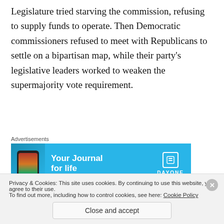Legislature tried starving the commission, refusing to supply funds to operate. Then Democratic commissioners refused to meet with Republicans to settle on a bipartisan map, while their party's legislative leaders worked to weaken the supermajority vote requirement.
[Figure (other): Advertisement banner for DayOne journal app showing a smartphone with colorful content and the text 'Your Journal for life' with DAYONE logo]
“In redistricting, Democrats want to elect more of their partisans to advance their agenda. So do Republicans.”
Privacy & Cookies: This site uses cookies. By continuing to use this website, you agree to their use.
To find out more, including how to control cookies, see here: Cookie Policy